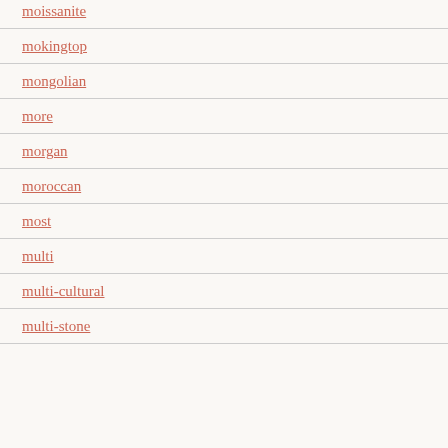moissanite
mokingtop
mongolian
more
morgan
moroccan
most
multi
multi-cultural
multi-stone